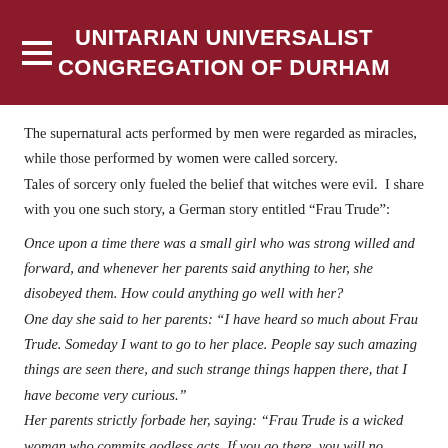UNITARIAN UNIVERSALIST CONGREGATION OF DURHAM
The supernatural acts performed by men were regarded as miracles, while those performed by women were called sorcery. Tales of sorcery only fueled the belief that witches were evil.  I share with you one such story, a German story entitled “Frau Trude”:
Once upon a time there was a small girl who was strong willed and forward, and whenever her parents said anything to her, she disobeyed them. How could anything go well with her? One day she said to her parents: "I have heard so much about Frau Trude. Someday I want to go to her place. People say such amazing things are seen there, and such strange things happen there, that I have become very curious." Her parents strictly forbade her, saying: "Frau Trude is a wicked woman who commits godless acts. If you go there, you will no longer be our